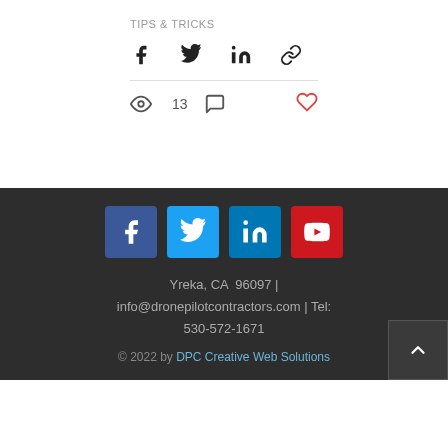TIPS & TRICKS
[Figure (infographic): Share icons: Facebook, Twitter, LinkedIn, link/copy]
13 views, 0 comments, like button
[Figure (infographic): Footer with social media icons (Facebook, Twitter, LinkedIn, YouTube), contact info: Yreka, CA 96097 | info@dronepilotcontractors.com | Tel: 530-572-1671, copyright 2022 by DPC Creative Web Solutions, back to top button]